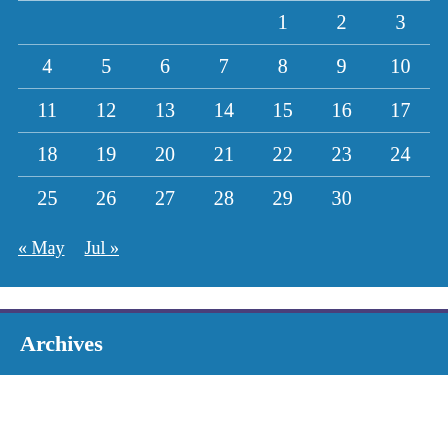|  |  |  |  | 1 | 2 | 3 |
| --- | --- | --- | --- | --- | --- | --- |
| 4 | 5 | 6 | 7 | 8 | 9 | 10 |
| 11 | 12 | 13 | 14 | 15 | 16 | 17 |
| 18 | 19 | 20 | 21 | 22 | 23 | 24 |
| 25 | 26 | 27 | 28 | 29 | 30 |  |
« May   Jul »
Archives